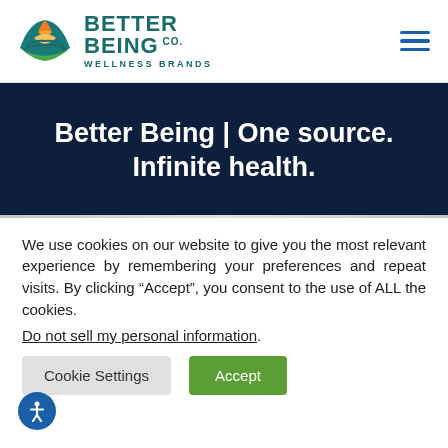[Figure (logo): Better Being Co. Wellness Brands logo with circular sun/landscape icon in orange, green, and teal, and teal text]
Better Being | One source. Infinite health.
We use cookies on our website to give you the most relevant experience by remembering your preferences and repeat visits. By clicking “Accept”, you consent to the use of ALL the cookies.
Do not sell my personal information.
Cookie Settings
Accept